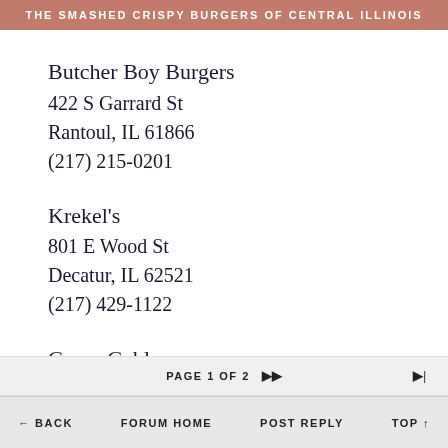THE SMASHED CRISPY BURGERS OF CENTRAL ILLINOIS
Butcher Boy Burgers
422 S Garrard St
Rantoul, IL 61866
(217) 215-0201
Krekel's
801 E Wood St
Decatur, IL 62521
(217) 429-1122
Green Gables
17485 E 2500 Rd N
Hudson, IL 61748
PAGE 1 OF 2   ▶▶   ▶|   ← BACK   FORUM HOME   POST REPLY   TOP ↑